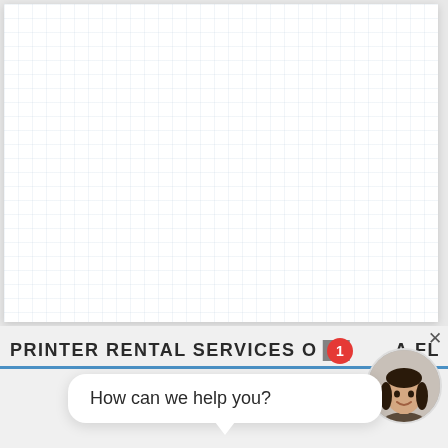[Figure (screenshot): White dotted/grid-lined document page card with light blue grid pattern, occupying upper 3/4 of the image]
PRINTER RENTAL SERVICES O[N] [ORL]A FL[ORIDA]
[Figure (screenshot): Chat widget popup with speech bubble saying 'How can we help you?', a red notification badge showing '1', a close X button, and a circular avatar photo of a smiling woman]